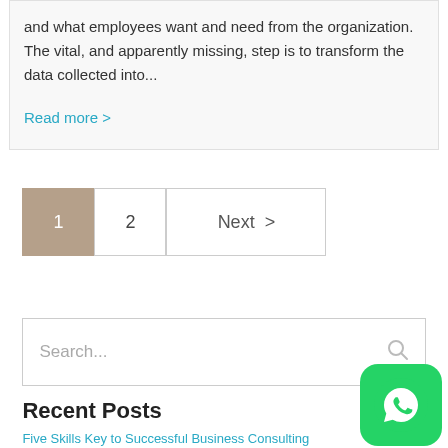and what employees want and need from the organization. The vital, and apparently missing, step is to transform the data collected into...
Read more >
1  2  Next >
Search...
Recent Posts
Five Skills Key to Successful Business Consulting